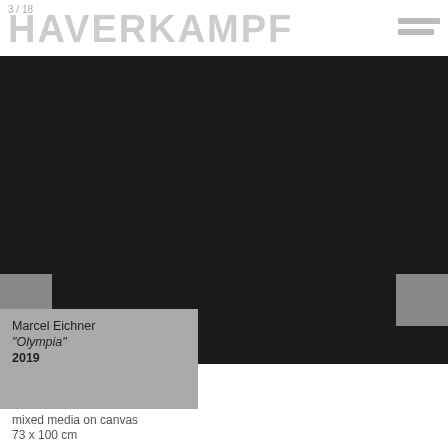3 / 18 HAVERKAMPF
[Figure (photo): Large dark/black artwork photograph filling most of the page, showing a nearly black canvas painting with navigation arrows on left and right sides]
Marcel Eichner
"Olympia"
2019
mixed media on canvas
73 x 100 cm